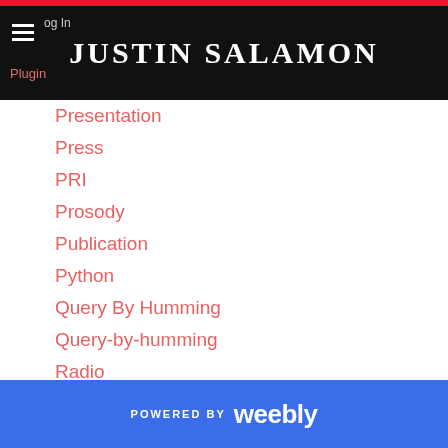JUSTIN SALAMON
Presentation
Press
PRI
Prosody
Publication
Python
Query By Humming
Query-by-humming
Radio
Representation Learning
Research
Robots
Scaper
Science And The City
POWERED BY weebly